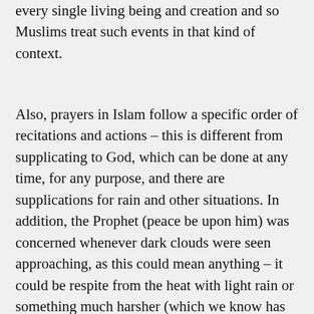every single living being and creation and so Muslims treat such events in that kind of context.
Also, prayers in Islam follow a specific order of recitations and actions – this is different from supplicating to God, which can be done at any time, for any purpose, and there are supplications for rain and other situations. In addition, the Prophet (peace be upon him) was concerned whenever dark clouds were seen approaching, as this could mean anything – it could be respite from the heat with light rain or something much harsher (which we know has happened from Prophet Nuh/Noah's time and other events in